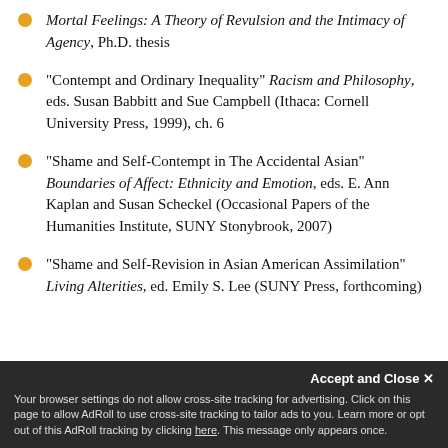Mortal Feelings: A Theory of Revulsion and the Intimacy of Agency, Ph.D. thesis
"Contempt and Ordinary Inequality" Racism and Philosophy, eds. Susan Babbitt and Sue Campbell (Ithaca: Cornell University Press, 1999), ch. 6
"Shame and Self-Contempt in The Accidental Asian" Boundaries of Affect: Ethnicity and Emotion, eds. E. Ann Kaplan and Susan Scheckel (Occasional Papers of the Humanities Institute, SUNY Stonybrook, 2007)
"Shame and Self-Revision in Asian American Assimilation" Living Alterities, ed. Emily S. Lee (SUNY Press, forthcoming)
Accept and Close x Your browser settings do not allow cross-site tracking for advertising. Click on this page to allow AdRoll to use cross-site tracking to tailor ads to you. Learn more or opt out of this AdRoll tracking by clicking here. This message only appears once.